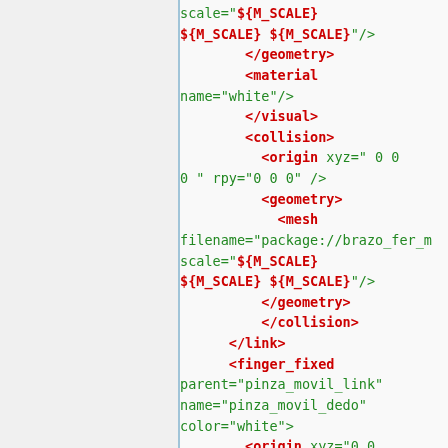XML/URDF code snippet showing geometry, material, visual, collision, origin, mesh, link, and finger_fixed elements with attributes scale, name, parent, color, rpy, xyz, filename referencing package://brazo_fer_m and variables ${M_SCALE}, ${F2_HEIGHT}